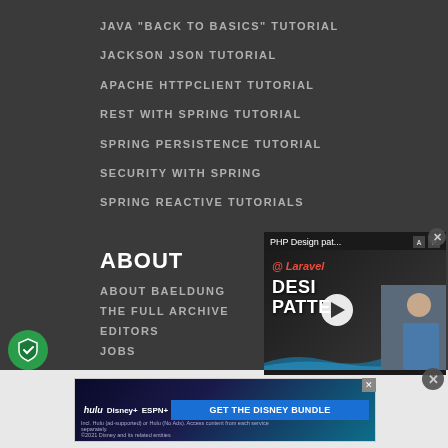JAVA "BACK TO BASICS" TUTORIAL
JACKSON JSON TUTORIAL
APACHE HTTPCLIENT TUTORIAL
REST WITH SPRING TUTORIAL
SPRING PERSISTENCE TUTORIAL
SECURITY WITH SPRING
SPRING REACTIVE TUTORIALS
ABOUT
ABOUT BAELDUNG
THE FULL ARCHIVE
EDITORS
JOBS
[Figure (screenshot): Video popup showing PHP Design Patterns at Laravel tutorial with play button, title bar with AP controls, and close button]
[Figure (screenshot): Disney Bundle advertisement banner with Hulu, Disney+, ESPN+ logos and GET THE DISNEY BUNDLE CTA button]